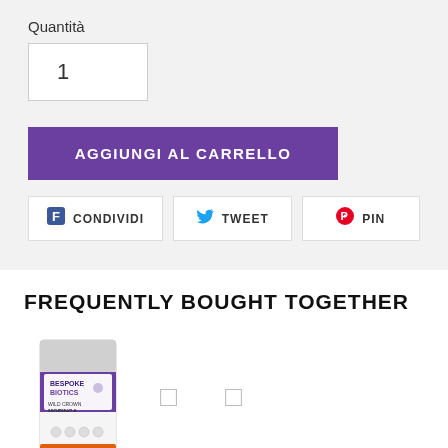Quantità
1
AGGIUNGI AL CARRELLO
CONDIVIDI
TWEET
PIN
FREQUENTLY BOUGHT TOGETHER
[Figure (photo): Bespoke Biotics Wild Crown Moringa supplement product package]